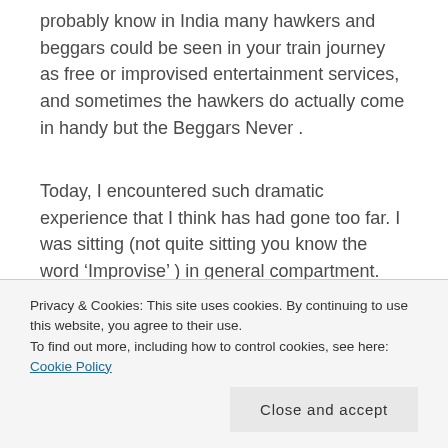probably know in India many hawkers and beggars could be seen in your train journey as free or improvised entertainment services, and sometimes the hawkers do actually come in handy but the Beggars Never .
Today, I encountered such dramatic experience that I think has had gone too far. I was sitting (not quite sitting you know the word ‘Improvise’ ) in general compartment.
When at Bolpur (Santiniketan) Station some kids
Privacy & Cookies: This site uses cookies. By continuing to use this website, you agree to their use.
To find out more, including how to control cookies, see here: Cookie Policy
Close and accept